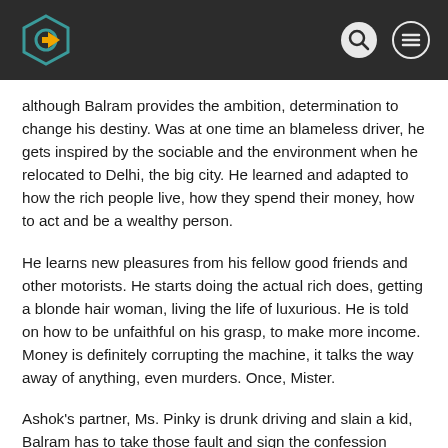Website header with logo and navigation icons
although Balram provides the ambition, determination to change his destiny. Was at one time an blameless driver, he gets inspired by the sociable and the environment when he relocated to Delhi, the big city. He learned and adapted to how the rich people live, how they spend their money, how to act and be a wealthy person.
He learns new pleasures from his fellow good friends and other motorists. He starts doing the actual rich does, getting a blonde hair woman, living the life of luxurious. He is told on how to be unfaithful on his grasp, to make more income. Money is definitely corrupting the machine, it talks the way away of anything, even murders. Once, Mister.
Ashok's partner, Ms. Pinky is drunk driving and slain a kid, Balram has to take those fault and sign the confession notice they get ready for him, despite the fact that he isn't in the car whatsoever when the car accident happen. The main one with the cash is the